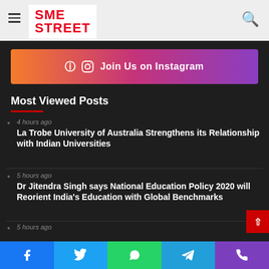SME STREET
[Figure (infographic): Join Us on Instagram button with gradient background orange to purple]
Most Viewed Posts
4 hours ago — La Trobe University of Australia Strengthens its Relationship with Indian Universities
5 hours ago — Dr Jitendra Singh says National Education Policy 2020 will Reorient India's Education with Global Benchmarks
5 hours ago
Facebook  Twitter  WhatsApp  Telegram  Phone